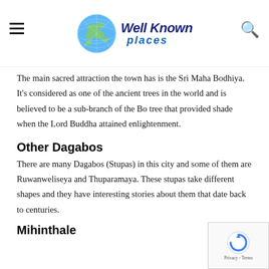Well Known places
The main sacred attraction the town has is the Sri Maha Bodhiya. It's considered as one of the ancient trees in the world and is believed to be a sub-branch of the Bo tree that provided shade when the Lord Buddha attained enlightenment.
Other Dagabos
There are many Dagabos (Stupas) in this city and some of them are Ruwanweliseya and Thuparamaya. These stupas take different shapes and they have interesting stories about them that date back to centuries.
Mihinthale